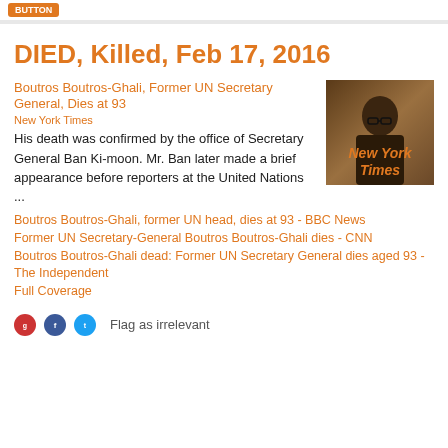DIED, Killed, Feb 17, 2016
Boutros Boutros-Ghali, Former UN Secretary General, Dies at 93
New York Times
His death was confirmed by the office of Secretary General Ban Ki-moon. Mr. Ban later made a brief appearance before reporters at the United Nations ...
[Figure (photo): Photo of Boutros Boutros-Ghali with New York Times overlay text]
Boutros Boutros-Ghali, former UN head, dies at 93 - BBC News
Former UN Secretary-General Boutros Boutros-Ghali dies - CNN
Boutros Boutros-Ghali dead: Former UN Secretary General dies aged 93 - The Independent
Full Coverage
Flag as irrelevant